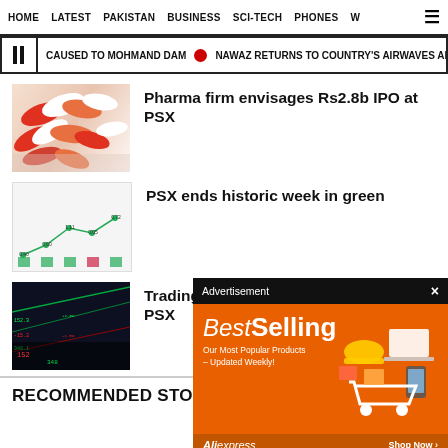HOME   LATEST   PAKISTAN   BUSINESS   SCI-TECH   PHONES   W
CAUSED TO MOHMAND DAM  •  NAWAZ RETURNS TO COUNTRY'S AIRWAVES AFTER
[Figure (photo): Pills and capsules (red, orange, white) on a surface]
Pharma firm envisages Rs2.8b IPO at PSX
[Figure (bar-chart): PSX weekly performance bar chart with trendline showing values 0.40, 0.60, 1.11, 0.05, 0.72]
PSX ends historic week in green
[Figure (photo): Stock market trading floor with green and red digital displays]
Trading volum PSX
[Figure (infographic): Advertisement: BestSelling - Our Most Popular Products – Updated Weekly! AliExpress Shop Now]
RECOMMENDED STORIES